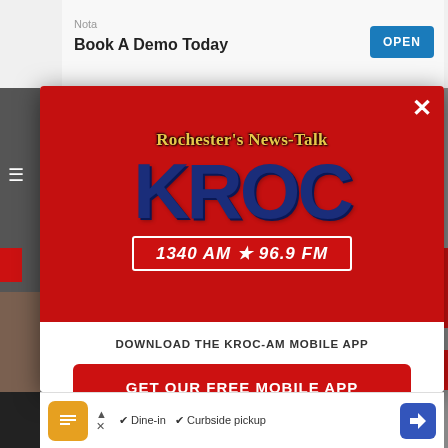[Figure (screenshot): Mobile app download modal popup for KROC radio station (Rochester's News-Talk KROC 1340 AM / 96.9 FM) overlaid on a webpage. The modal has a red top section with the KROC logo and a white bottom section with a download call-to-action button and Amazon Alexa listening option. Background shows a website with an ad bar at top.]
Nota
Book A Demo Today
OPEN
Rochester's News-Talk KROC 1340 AM ★ 96.9 FM
DOWNLOAD THE KROC-AM MOBILE APP
GET OUR FREE MOBILE APP
Also listen on:  amazon alexa
Dine-in   Curbside pickup